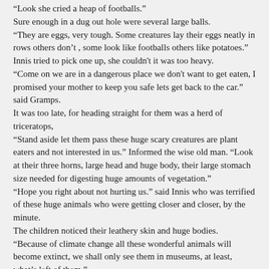“Look she cried a heap of footballs.”
Sure enough in a dug out hole were several large balls.
“They are eggs, very tough. Some creatures lay their eggs neatly in rows others don’t , some look like footballs others like potatoes.”
Innis tried to pick one up, she couldn't it was too heavy.
“Come on we are in a dangerous place we don't want to get eaten, I promised your mother to keep you safe lets get back to the car.” said Gramps.
It was too late, for heading straight for them was a herd of triceratops,
“Stand aside let them pass these huge scary creatures are plant eaters and not interested in us.” Informed the wise old man. “Look at their three horns, large head and huge body, their large stomach size needed for digesting huge amounts of vegetation.”
“Hope you right about not hurting us.” said Innis who was terrified of these huge animals who were getting closer and closer, by the minute.
The children noticed their leathery skin and huge bodies.
“Because of climate change all these wonderful animals will become extinct, we shall only see them in museums, at least, what’s left of them.”
“Th...